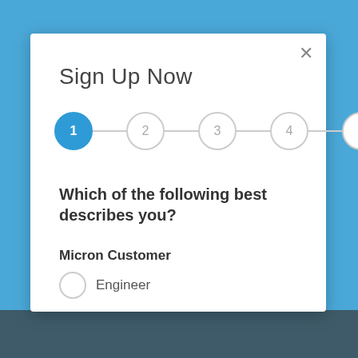Sign Up Now
[Figure (infographic): A 5-step progress stepper with step 1 highlighted in blue and steps 2-5 as empty circles connected by lines]
Which of the following best describes you?
Micron Customer
Engineer